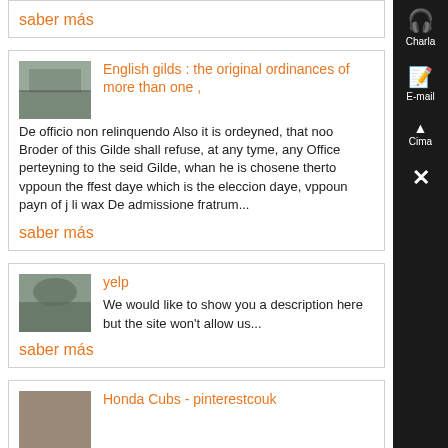saber más
English gilds : the original ordinances of more than one ,
De officio non relinquendo Also it is ordeyned, that noo Broder of this Gilde shall refuse, at any tyme, any Office perteyning to the seid Gilde, whan he is chosene therto vppoun the ffest daye which is the eleccion daye, vppoun payn of j li wax De admissione fratrum...
saber más
yelp
We would like to show you a description here but the site won't allow us...
saber más
Honda Cubs - pinterestcouk